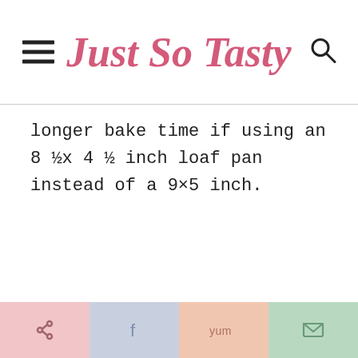Just So Tasty
longer bake time if using an 8 ½x 4 ½ inch loaf pan instead of a 9×5 inch.
Share buttons: Pinterest, Facebook, Yummly, Email